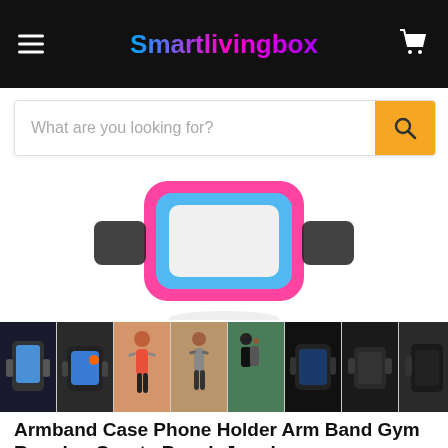Smartlivingbox - navigation bar with hamburger menu and cart icon
[Figure (screenshot): Search bar with placeholder text 'What are you looking for?' and an orange search button]
[Figure (photo): Product main image showing a pink/blue phone armband case, partially visible]
[Figure (photo): Thumbnail gallery row showing 8 product images of the armband case including people running with the armband]
Armband Case Phone Holder Arm Band Gym Running Sports Pouch Jogging